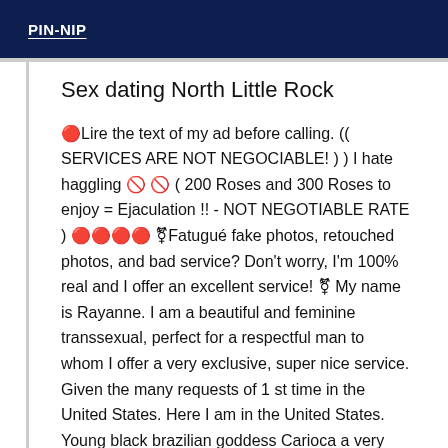PIN-NIP
Sex dating North Little Rock
🔴Lire the text of my ad before calling. (( SERVICES ARE NOT NEGOCIABLE! ) ) I hate haggling 🚫 🚫 ( 200 Roses and 300 Roses to enjoy = Ejaculation !! - NOT NEGOTIABLE RATE ) 🔴🔴🔴🔴 ⚧Fatigué fake photos, retouched photos, and bad service? Don't worry, I'm 100% real and I offer an excellent service! ⚧ My name is Rayanne. I am a beautiful and feminine transsexual, perfect for a respectful man to whom I offer a very exclusive, super nice service. Given the many requests of 1 st time in the United States. Here I am in the United States. Young black brazilian goddess Carioca a very talented latin hottie, 25cm BIG BIT, no nature report not without condoms, a very hot donkey and a tight ass. ( A LOT OF  ). Well mounted. Dominatrix. If you are beginners do not hesitate to call me and I will receive you with a lot of kindness and attention. I have all the